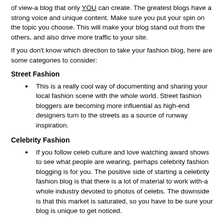of view-a blog that only YOU can create. The greatest blogs have a strong voice and unique content. Make sure you put your spin on the topic you choose. This will make your blog stand out from the others, and also drive more traffic to your site.
If you don't know which direction to take your fashion blog, here are some categories to consider:
Street Fashion
This is a really cool way of documenting and sharing your local fashion scene with the whole world. Street fashion bloggers are becoming more influential as high-end designers turn to the streets as a source of runway inspiration.
Celebrity Fashion
If you follow celeb culture and love watching award shows to see what people are wearing, perhaps celebrity fashion blogging is for you. The positive side of starting a celebrity fashion blog is that there is a lot of material to work with-a whole industry devoted to photos of celebs. The downside is that this market is saturated, so you have to be sure your blog is unique to get noticed.